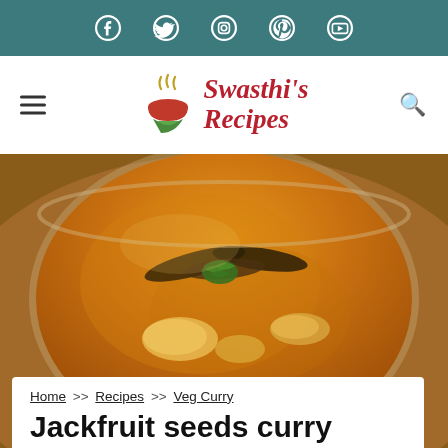Social media icons: Facebook, Twitter, Instagram, Pinterest, YouTube
[Figure (logo): Swasthi's Recipes logo with stylized steam bowl icon in red and green, text in red cursive]
[Figure (photo): Close-up photo of jackfruit seeds curry in a ceramic bowl with orange/golden curry sauce, topped with a fried curry leaf and fresh cilantro garnish]
Home >> Recipes >> Veg Curry
Jackfruit seeds curry